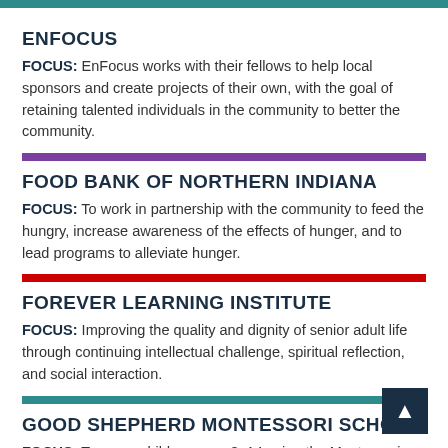ENFOCUS
FOCUS: EnFocus works with their fellows to help local sponsors and create projects of their own, with the goal of retaining talented individuals in the community to better the community.
FOOD BANK OF NORTHERN INDIANA
FOCUS: To work in partnership with the community to feed the hungry, increase awareness of the effects of hunger, and to lead programs to alleviate hunger.
FOREVER LEARNING INSTITUTE
FOCUS: Improving the quality and dignity of senior adult life through continuing intellectual challenge, spiritual reflection, and social interaction.
GOOD SHEPHERD MONTESSORI SCHOOL
FOCUS: To serve children ages 3–14 using the Montessori method, the Catechesis of the Good Shepherd, and nature education; we